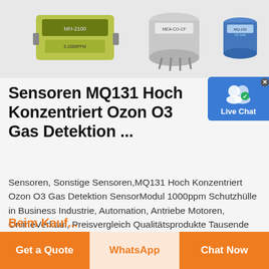[Figure (photo): Three electronic gas sensor components/modules on a white background — left: a green rectangular module labeled MH-2100, center: a silver cylindrical sensor labeled MEA-CO-CF, right: a small blue cylindrical sensor — partial crop at top of page.]
Sensoren MQ131 Hoch Konzentriert Ozon O3 Gas Detektion ...
Sensoren, Sonstige Sensoren,MQ131 Hoch Konzentriert Ozon O3 Gas Detektion SensorModul 1000ppm Schutzhülle in Business Industrie, Automation, Antriebe Motoren, OnlineVerkauf, Preisvergleich Qualitätsprodukte Tausende von Produkten finden Sie die am besten bewerteten Produkte zu den niedrigsten Preisen von heute.